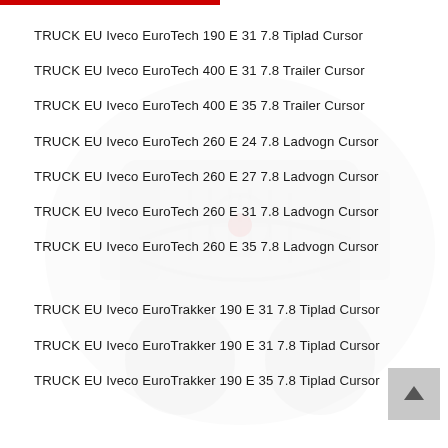TRUCK EU Iveco EuroTech 190 E 31 7.8 Tiplad Cursor
TRUCK EU Iveco EuroTech 400 E 31 7.8 Trailer Cursor
TRUCK EU Iveco EuroTech 400 E 35 7.8 Trailer Cursor
TRUCK EU Iveco EuroTech 260 E 24 7.8 Ladvogn Cursor
TRUCK EU Iveco EuroTech 260 E 27 7.8 Ladvogn Cursor
TRUCK EU Iveco EuroTech 260 E 31 7.8 Ladvogn Cursor
TRUCK EU Iveco EuroTech 260 E 35 7.8 Ladvogn Cursor
TRUCK EU Iveco EuroTrakker 190 E 31 7.8 Tiplad Cursor
TRUCK EU Iveco EuroTrakker 190 E 31 7.8 Tiplad Cursor
TRUCK EU Iveco EuroTrakker 190 E 35 7.8 Tiplad Cursor